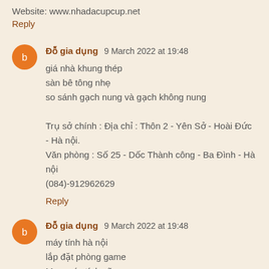Website: www.nhadacupcup.net
Reply
Đỗ gia dụng 9 March 2022 at 19:48
giá nhà khung thép
sàn bê tông nhẹ
so sánh gạch nung và gạch không nung

Trụ sở chính : Địa chỉ : Thôn 2 - Yên Sở - Hoài Đức - Hà nội.
Văn phòng : Số 25 - Dốc Thành công - Ba Đình - Hà nội
(084)-912962629
Reply
Đỗ gia dụng 9 March 2022 at 19:48
máy tính hà nội
lắp đặt phòng game
Mua máy tính cũ
màn hình máy tính cũ
Reply